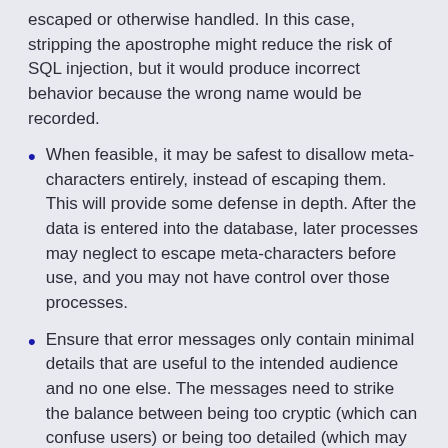escaped or otherwise handled. In this case, stripping the apostrophe might reduce the risk of SQL injection, but it would produce incorrect behavior because the wrong name would be recorded.
When feasible, it may be safest to disallow meta-characters entirely, instead of escaping them. This will provide some defense in depth. After the data is entered into the database, later processes may neglect to escape meta-characters before use, and you may not have control over those processes.
Ensure that error messages only contain minimal details that are useful to the intended audience and no one else. The messages need to strike the balance between being too cryptic (which can confuse users) or being too detailed (which may